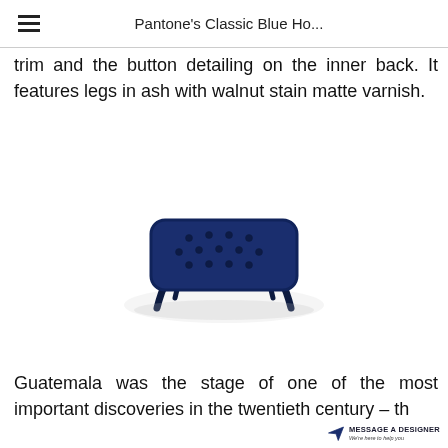Pantone's Classic Blue Ho...
trim and the button detailing on the inner back. It features legs in ash with walnut stain matte varnish.
[Figure (photo): A dark navy blue tufted ottoman with four curved legs in walnut-stain finish, photographed on a white background.]
Guatemala was the stage of one of the most important discoveries in the twentieth century – th